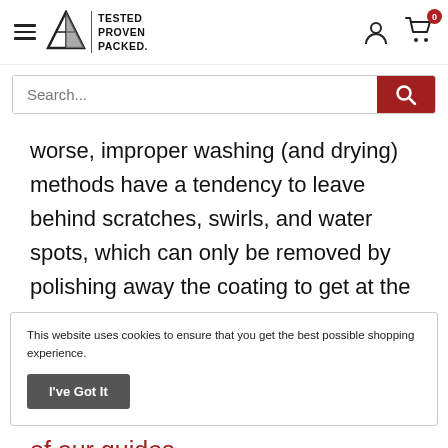TESTED PROVEN PACKED.
Search...
worse, improper washing (and drying) methods have a tendency to leave behind scratches, swirls, and water spots, which can only be removed by polishing away the coating to get at the
This website uses cookies to ensure that you get the best possible shopping experience.
I've Got It
of our guides.